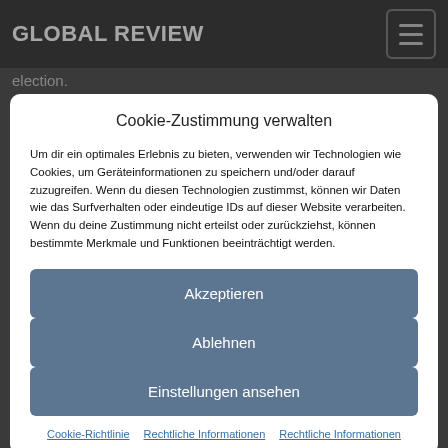GLOBAL REVIEW
election.
Cookie-Zustimmung verwalten
Um dir ein optimales Erlebnis zu bieten, verwenden wir Technologien wie Cookies, um Geräteinformationen zu speichern und/oder darauf zuzugreifen. Wenn du diesen Technologien zustimmst, können wir Daten wie das Surfverhalten oder eindeutige IDs auf dieser Website verarbeiten. Wenn du deine Zustimmung nicht erteilst oder zurückziehst, können bestimmte Merkmale und Funktionen beeinträchtigt werden.
Akzeptieren
Ablehnen
Einstellungen ansehen
Cookie-Richtlinie   Rechtliche Informationen   Rechtliche Informationen